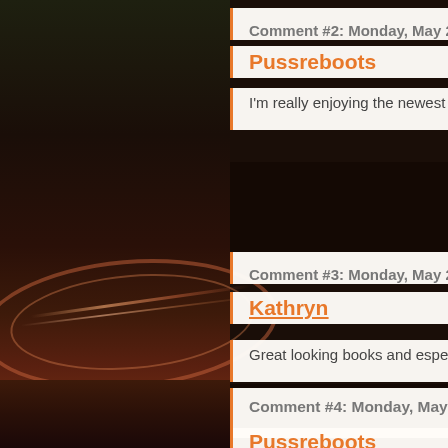[Figure (photo): Dark background photo of what appears to be a book spine or close-up of a red/orange flower or plant with spine details visible along a curved edge]
Comment #2: Monday, May 29
Pussreboots
I'm really enjoying the newest Nancy D
Comment #3: Monday, May 29,
Kathryn
Great looking books and especially th
Comment #4: Monday, May 29
Pussreboots
I am enjoying The Book Stops Here a